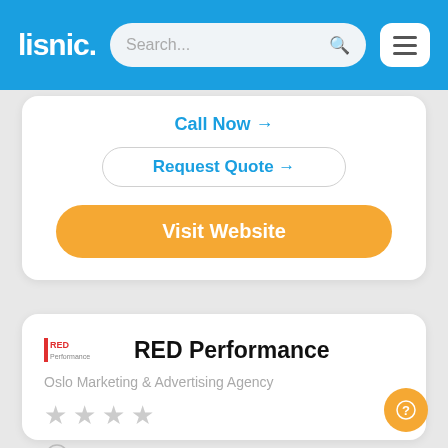lisnic. Search...
Call Now →
Request Quote →
Visit Website
RED Performance
Oslo Marketing & Advertising Agency
★★★★ (stars)
Undisclosed
Oslo, Oslo